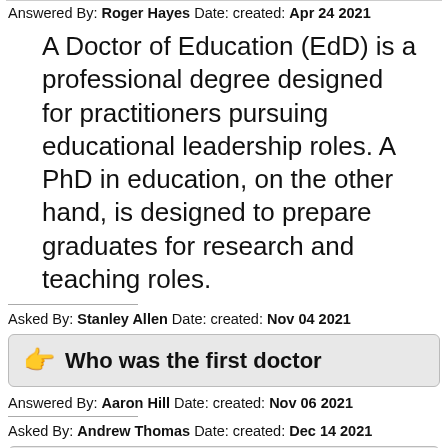Answered By: Roger Hayes Date: created: Apr 24 2021
A Doctor of Education (EdD) is a professional degree designed for practitioners pursuing educational leadership roles. A PhD in education, on the other hand, is designed to prepare graduates for research and teaching roles.
Asked By: Stanley Allen Date: created: Nov 04 2021
Who was the first doctor
Answered By: Aaron Hill Date: created: Nov 06 2021
Asked By: Andrew Thomas Date: created: Dec 14 2021
What kind of doctor is a physicist
Answered By: Abraham Smith Date: created: Dec 15 2021